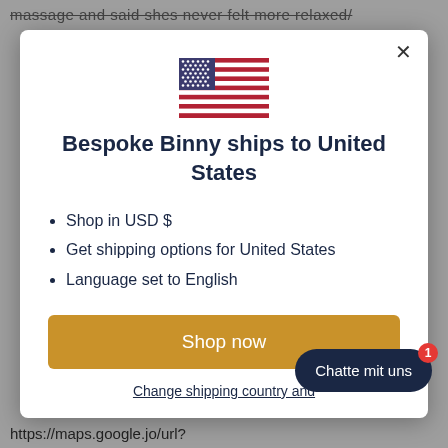massage and said shes never felt more relaxed/
[Figure (illustration): US flag icon centered in modal]
Bespoke Binny ships to United States
Shop in USD $
Get shipping options for United States
Language set to English
Shop now
Change shipping country and
Chatte mit uns
https://maps.google.jo/url?